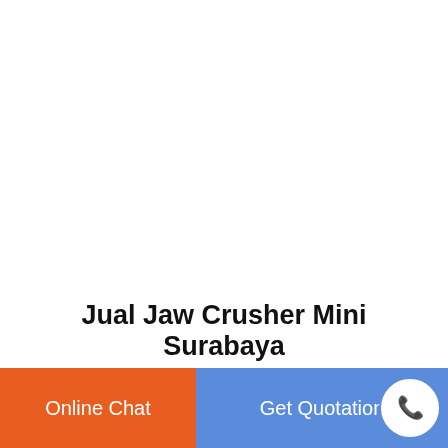Jual Jaw Crusher Mini Surabaya
stone crusher mini surabaya Mine process and mining equipment stone crusher mini surabaya. ... Jual Mesin Stone Crusher Baru ... price of mini cement plant machine jaw…
[Figure (other): Scroll-to-top button with upward arrow icon, teal border]
[Figure (other): Thumbnail card with teal background showing broken image icon and text: Stone Crusher Machine Price Crusher Business In India]
Stone Crusher Machine Price Crusher Business In India
Online Chat
Get Quotation
[Figure (other): Phone call icon in circular button, blue border, white background]